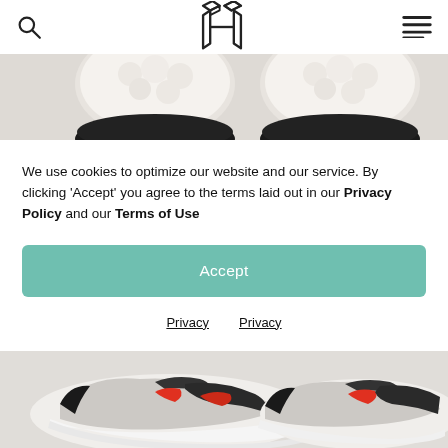[Figure (screenshot): Website navigation bar with search icon on left, geometric H logo in center, and hamburger menu on right]
[Figure (photo): Close-up bottom/sole view of white sneakers with black accents, cropped at top of page]
We use cookies to optimize our website and our service. By clicking 'Accept' you agree to the terms laid out in our Privacy Policy and our Terms of Use
Accept
Privacy
Privacy
[Figure (photo): White and gray athletic sneakers with red and black accents, shown from a side angle on light background]